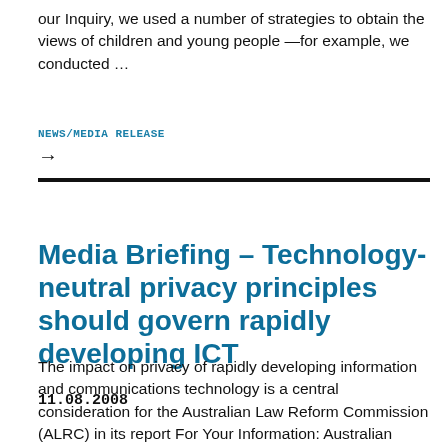our Inquiry, we used a number of strategies to obtain the views of children and young people —for example, we conducted …
NEWS/MEDIA RELEASE
→
11.08.2008
Media Briefing – Technology-neutral privacy principles should govern rapidly developing ICT
The impact on privacy of rapidly developing information and communications technology is a central consideration for the Australian Law Reform Commission (ALRC) in its report For Your Information: Australian Privacy Law and